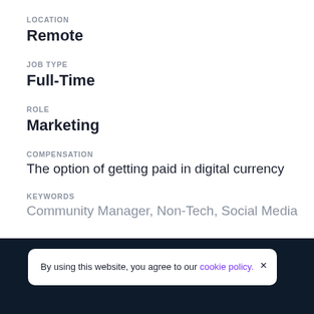LOCATION
Remote
JOB TYPE
Full-Time
ROLE
Marketing
COMPENSATION
The option of getting paid in digital currency
KEYWORDS
Community Manager, Non-Tech, Social Media
By using this website, you agree to our cookie policy.